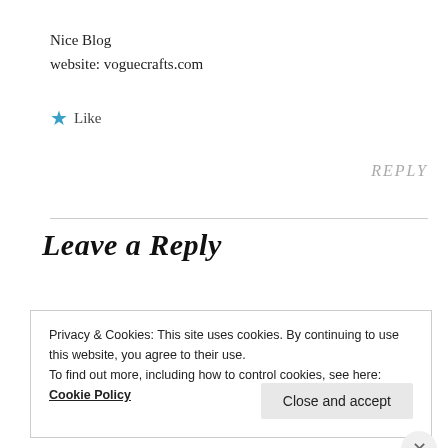Nice Blog
website: voguecrafts.com
★ Like
REPLY
Leave a Reply
Privacy & Cookies: This site uses cookies. By continuing to use this website, you agree to their use.
To find out more, including how to control cookies, see here:
Cookie Policy
Close and accept